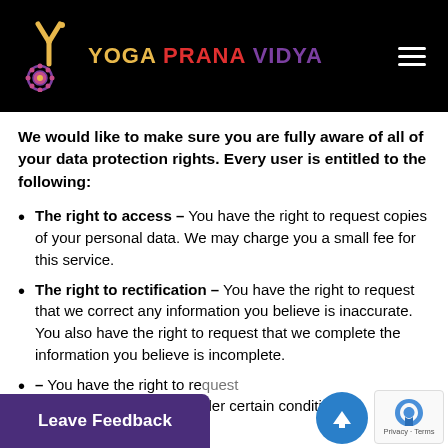[Figure (logo): Yoga Prana Vidya logo with stylized Y graphic and mandala symbol on black background]
We would like to make sure you are fully aware of all of your data protection rights. Every user is entitled to the following:
The right to access – You have the right to request copies of your personal data. We may charge you a small fee for this service.
The right to rectification – You have the right to request that we correct any information you believe is inaccurate. You also have the right to request that we complete the information you believe is incomplete.
[partial] – You have the right to request ... your personal data, under certain conditions.